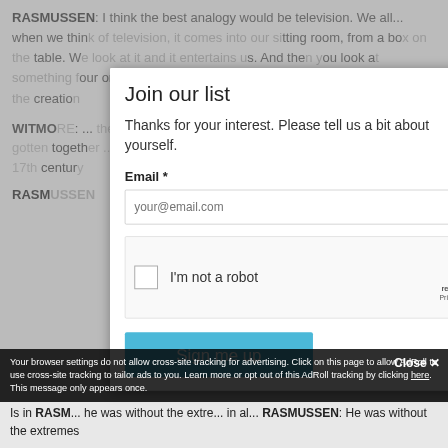RASMUSSEN: I think the best analogy would be television. We all... when we think of television, it comes into our sitting room, from a box on the table. We look at it and it entertains us. And this is something for you or five, even as the entertainment paradigm shifts, the creation...
WITMO[RE]: ... them going ... they're changing ... about these w[ays] ... gotten together ... why don't y[ou] ... might be egg[s] ... as we try to t[ell] ... e 17th centur[y]
Join our list
Thanks for your interest. Please tell us a bit about yourself.
Email *
your@email.com
I'm not a robot
reCAPTCHA
Privacy · Terms
Sign me up
RASM[USSEN]
Your browser settings do not allow cross-site tracking for advertising. Click on this page to allow AdRoll to use cross-site tracking to tailor ads to you. Learn more or opt out of this AdRoll tracking by clicking here. This message only appears once.
Is in FASM ... he was without the extremes ... in al... RASMUSSEN: He was without the extremes